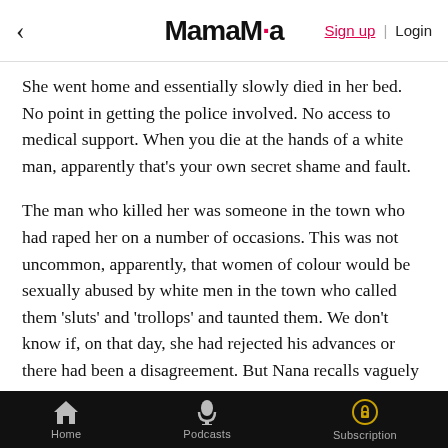< MamaMia  Sign up | Login
She went home and essentially slowly died in her bed. No point in getting the police involved. No access to medical support. When you die at the hands of a white man, apparently that's your own secret shame and fault.
The man who killed her was someone in the town who had raped her on a number of occasions. This was not uncommon, apparently, that women of colour would be sexually abused by white men in the town who called them 'sluts' and 'trollops' and taunted them. We don't know if, on that day, she had rejected his advances or there had been a disagreement. But Nana recalls vaguely (as she was only three years old) that her mother, Sarah, came home, laid in bed for days and later
Home  Podcasts  Subscription